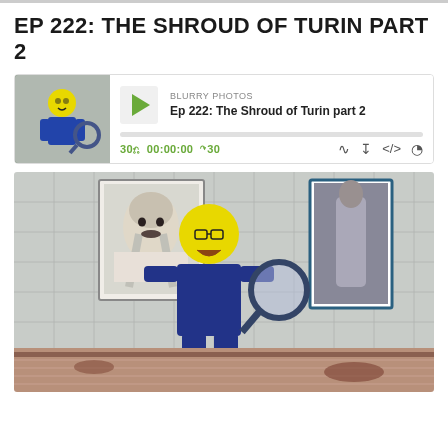EP 222: THE SHROUD OF TURIN PART 2
[Figure (screenshot): Podcast audio player widget showing a thumbnail image of a LEGO figure on the left, a green play button, the show name 'BLURRY PHOTOS', episode title 'Ep 222: The Shroud of Turin part 2', a progress bar, time display '30← 00:00:00 →30', and player control icons for RSS, download, embed, and share.]
[Figure (photo): A LEGO minifigure with yellow head, glasses, and beard holding a large magnifying glass, standing in front of a tiled wall. On the wall hangs a framed black-and-white portrait photo (resembling Nikola Tesla) and a framed image of the Shroud of Turin. The bottom of the image shows the Shroud of Turin fabric.]